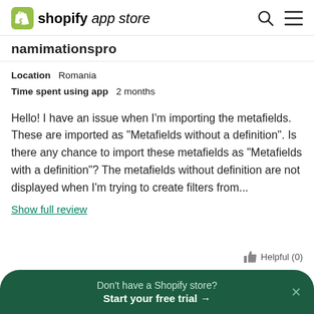shopify app store
namimationspro
Location   Romania
Time spent using app   2 months
Hello! I have an issue when I'm importing the metafields. These are imported as "Metafields without a definition". Is there any chance to import these metafields as "Metafields with a definition"? The metafields without definition are not displayed when I'm trying to create filters from...
Show full review
Don't have a Shopify store?
Start your free trial →